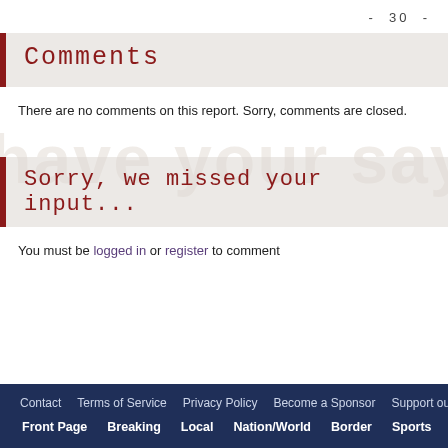- 30 -
Comments
There are no comments on this report. Sorry, comments are closed.
Sorry, we missed your input...
You must be logged in or register to comment
Contact   Terms of Service   Privacy Policy   Become a Sponsor   Support our work   Front Page   Breaking   Local   Nation/World   Border   Sports   Opin...